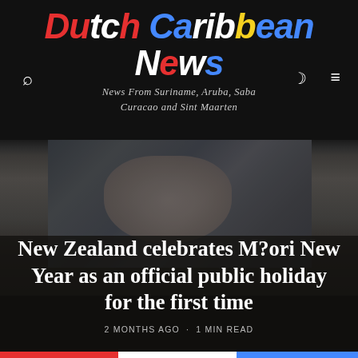Dutch Caribbean News — News From Suriname, Aruba, Saba Curacao and Sint Maarten
[Figure (photo): A person holding a black handbag, wearing a dark jacket, photographed from torso level]
New Zealand celebrates M?ori New Year as an official public holiday for the first time
2 MONTHS AGO · 1 MIN READ